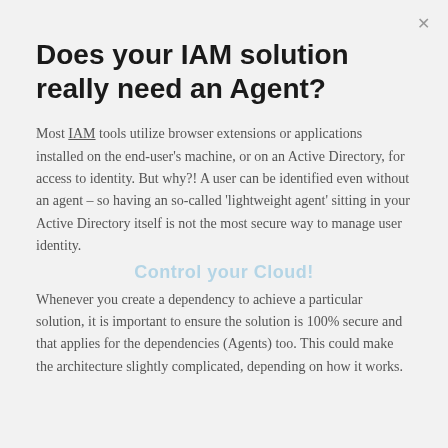Does your IAM solution really need an Agent?
Most IAM tools utilize browser extensions or applications installed on the end-user's machine, or on an Active Directory, for access to identity. But why?! A user can be identified even without an agent – so having an so-called 'lightweight agent' sitting in your Active Directory itself is not the most secure way to manage user identity.
Control your Cloud!
Whenever you create a dependency to achieve a particular solution, it is important to ensure the solution is 100% secure and that applies for the dependencies (Agents) too. This could make the architecture slightly complicated, depending on how it works.